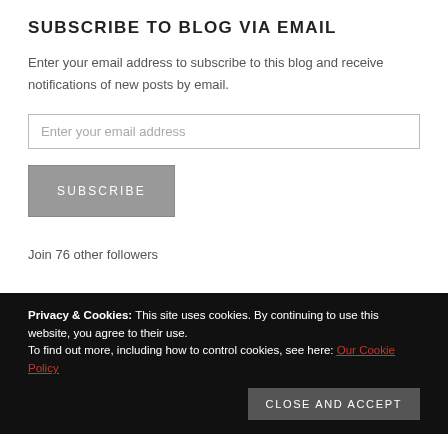SUBSCRIBE TO BLOG VIA EMAIL
Enter your email address to subscribe to this blog and receive notifications of new posts by email.
Enter your email address
SUBSCRIBE
Join 76 other followers
Privacy & Cookies: This site uses cookies. By continuing to use this website, you agree to their use. To find out more, including how to control cookies, see here: Our Cookie Policy
Close and accept